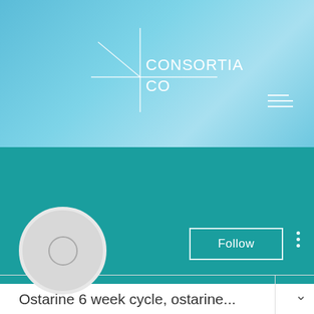[Figure (screenshot): Consortia Co website banner with light blue gradient background and geometric white line logo design]
Ostarine 6 week cycle, ostarine...
0 Followers • 0 Following